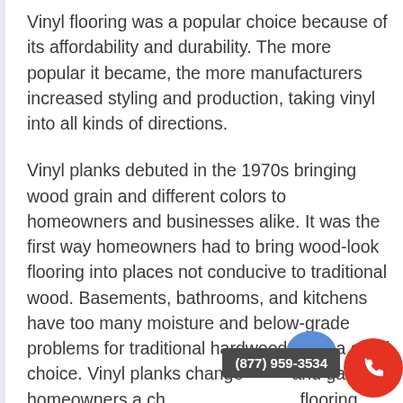Vinyl flooring was a popular choice because of its affordability and durability. The more popular it became, the more manufacturers increased styling and production, taking vinyl into all kinds of directions.
Vinyl planks debuted in the 1970s bringing wood grain and different colors to homeowners and businesses alike. It was the first way homeowners had to bring wood-look flooring into places not conducive to traditional wood. Basements, bathrooms, and kitchens have too many moisture and below-grade problems for traditional hardwood to be a good choice. Vinyl planks changed that and gave homeowners a chance to have the flooring they loved anywhere in the home.